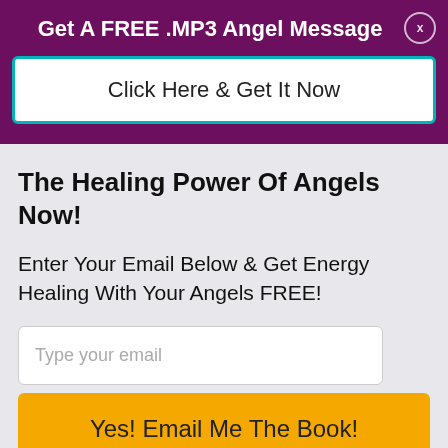Get A FREE .MP3 Angel Message
Click Here & Get It Now
The Healing Power Of Angels Now!
Enter Your Email Below & Get Energy Healing With Your Angels FREE!
Type your email
Yes! Email Me The Book!